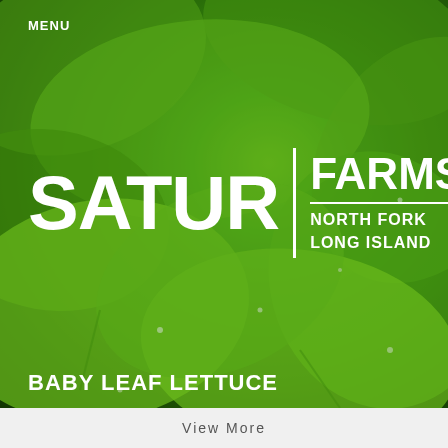[Figure (photo): Close-up photo of bright green baby leaf lettuce with water droplets, filling the background of the image]
MENU
SATUR | FARMS NORTH FORK LONG ISLAND
BABY LEAF LETTUCE
View More